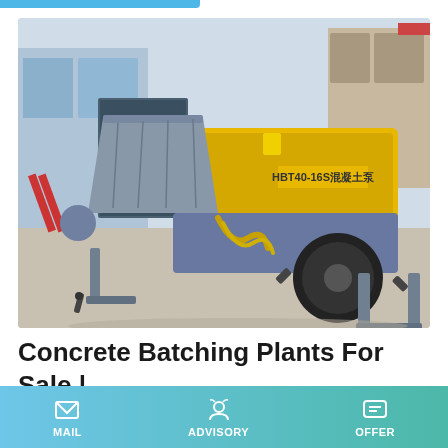[Figure (photo): A yellow and gray concrete pump machine (HBT40-16S model) on a paved surface, with a hopper, wheel, and discharge pipe visible. Industrial building in background.]
Concrete Batching Plants For Sale | New & Used | Vince Hagan
MAIL | ADVISORY | OFFER